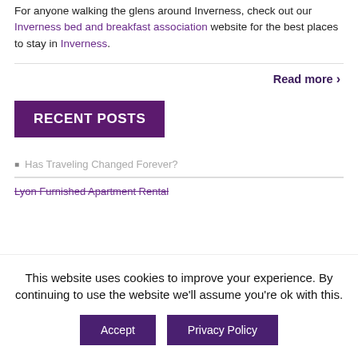For anyone walking the glens around Inverness, check out our Inverness bed and breakfast association website for the best places to stay in Inverness.
Read more
RECENT POSTS
Has Traveling Changed Forever?
Lyon Furnished Apartment Rental
This website uses cookies to improve your experience. By continuing to use the website we'll assume you're ok with this.
Accept | Privacy Policy